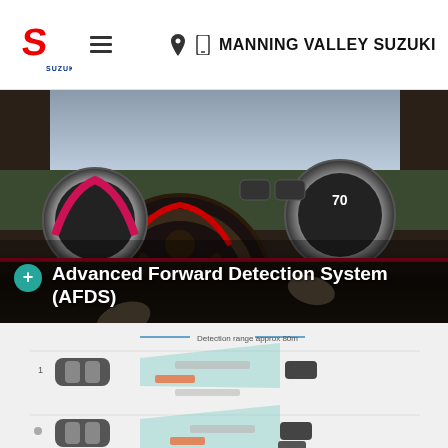MANNING VALLEY SUZUKI
[Figure (photo): Car interior showing steering wheel and dashboard instruments, with overlay text 'Advanced Forward Detection System (AFDS)']
Advanced Forward Detection System (AFDS)
[Figure (infographic): AFDS diagram showing detection range approx 80m with three scenarios of forward vehicle detection illustrated]
Blind Spot Monitor
FINANCE  SERVICE  OFFERS  TEST DRIVE  CONTACT